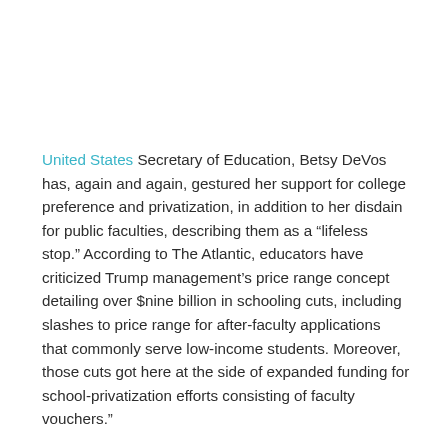United States Secretary of Education, Betsy DeVos has, again and again, gestured her support for college preference and privatization, in addition to her disdain for public faculties, describing them as a “lifeless stop.” According to The Atlantic, educators have criticized Trump management’s price range concept detailing over $nine billion in schooling cuts, including slashes to price range for after-faculty applications that commonly serve low-income students. Moreover, those cuts got here at the side of expanded funding for school-privatization efforts consisting of faculty vouchers.”